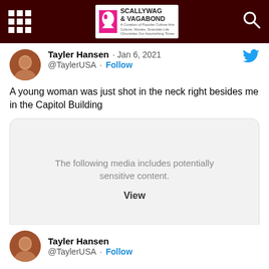Scallywag & Vagabond
Tayler Hansen · Jan 6, 2021
@TaylerUSA · Follow
A young woman was just shot in the neck right besides me in the Capitol Building
[Figure (screenshot): Media content warning box: 'The following media includes potentially sensitive content. View']
Tayler Hansen
@TaylerUSA · Follow